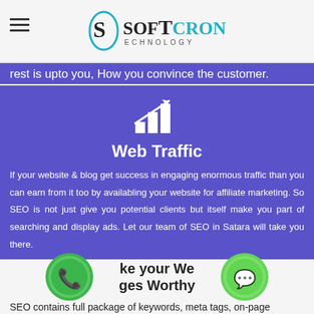SofTCron Technology
rest is upto you, How you convince the customer.
[Figure (illustration): White bar chart with upward arrow icon on purple background]
Web Traffic
If your website & blog get success in engaging enormous traffic than you can earn from it too by availabling your website for affiliate marketing. So SEO is not just give you potential clients but itself make you part of searching and display ads. Let our team of SEO in Satara will take you there.
[Figure (illustration): Green phone icon and green WhatsApp icon]
Make your Web Pages Worthy
SEO contains full package of keywords, meta tags, on-page